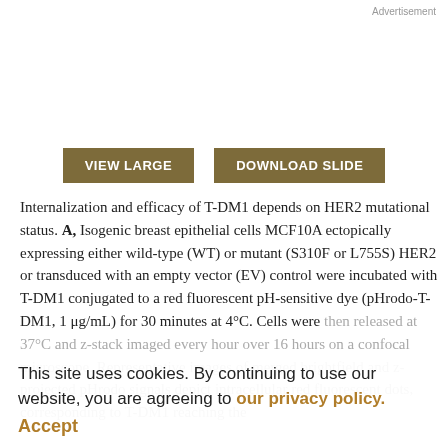Advertisement
[Figure (other): Blank advertisement space above buttons]
VIEW LARGE
DOWNLOAD SLIDE
Internalization and efficacy of T-DM1 depends on HER2 mutational status. A, Isogenic breast epithelial cells MCF10A ectopically expressing either wild-type (WT) or mutant (S310F or L755S) HER2 or transduced with an empty vector (EV) control were incubated with T-DM1 conjugated to a red fluorescent pH-sensitive dye (pHrodo-T-DM1, 1 μg/mL) for 30 minutes at 4°C. Cells were then released at 37°C and z-stack imaged every hour over 16 hours on a confocal microscope. Representative images of merged brightfield and z-projected pHrodo signals depict intracellular red fluorescent dots, corresponding to T-DM1 reaching the
This site uses cookies. By continuing to use our website, you are agreeing to our privacy policy.
Accept